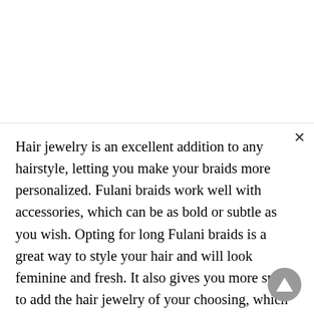Hair jewelry is an excellent addition to any hairstyle, letting you make your braids more personalized. Fulani braids work well with accessories, which can be as bold or subtle as you wish. Opting for long Fulani braids is a great way to style your hair and will look feminine and fresh. It also gives you more space to add the hair jewelry of your choosing, which can be placed anywhere on the hair, including the hairline or on the side braids. Fulani braids will last around five weeks and can be created with natural hair or braided extensions.